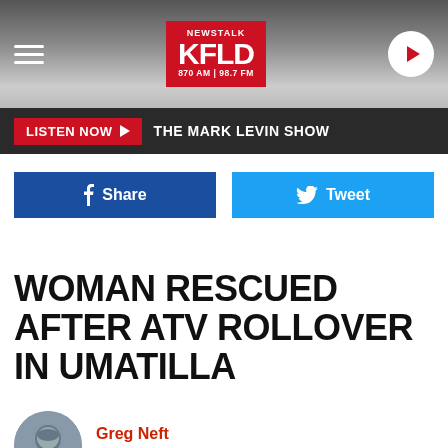[Figure (logo): NewsTalk KFLD 870 AM 98.7 FM radio station header with hamburger menu and play button]
LISTEN NOW  THE MARK LEVIN SHOW
Share  Tweet
WOMAN RESCUED AFTER ATV ROLLOVER IN UMATILLA
Greg Neft
Published: August 15, 2022
[Figure (photo): Author headshot of Greg Neft]
CoinFlip: So Flippin' Easy
CoinFlip Bitcoin ATM